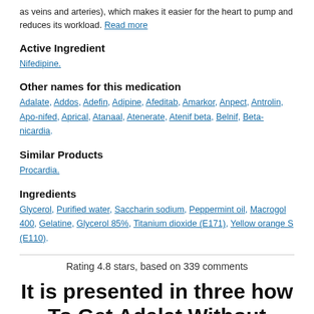as veins and arteries), which makes it easier for the heart to pump and reduces its workload. Read more
Active Ingredient
Nifedipine.
Other names for this medication
Adalate, Addos, Adefin, Adipine, Afeditab, Amarkor, Anpect, Antrolin, Apo-nifed, Aprical, Atanaal, Atenerate, Atenif beta, Belnif, Beta-nicardia.
Similar Products
Procardia.
Ingredients
Glycerol, Purified water, Saccharin sodium, Peppermint oil, Macrogol 400, Gelatine, Glycerol 85%, Titanium dioxide (E171), Yellow orange S (E110).
Rating 4.8 stars, based on 339 comments
It is presented in three how To Get Adalat Without Doctor buys Adalat Overseas with different subject matter in elementary science from grade three to six where topics for